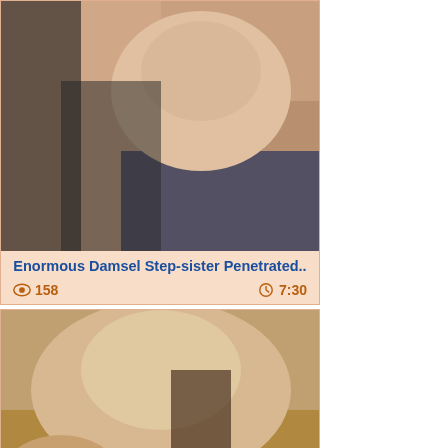[Figure (photo): Thumbnail image for video 1]
Enormous Damsel Step-sister Penetrated..
158  7:30
[Figure (photo): Thumbnail image for video 2 with watermark 4.com/atkgfs]
Gabbie Carter in Virtual Rendezvous..
2  7:59